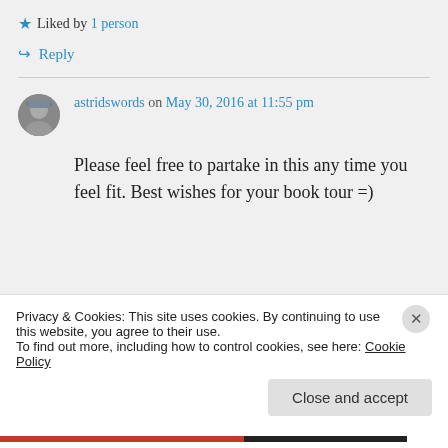★ Liked by 1 person
↪ Reply
astridswords on May 30, 2016 at 11:55 pm
Please feel free to partake in this any time you feel fit. Best wishes for your book tour =)
Privacy & Cookies: This site uses cookies. By continuing to use this website, you agree to their use.
To find out more, including how to control cookies, see here: Cookie Policy
Close and accept